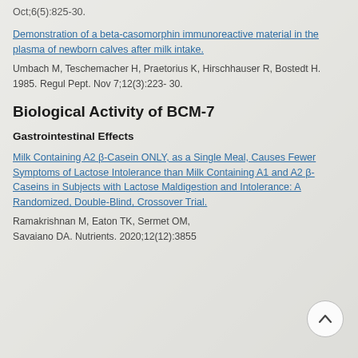Oct;6(5):825-30.
Demonstration of a beta-casomorphin immunoreactive material in the plasma of newborn calves after milk intake.
Umbach M, Teschemacher H, Praetorius K, Hirschhauser R, Bostedt H. 1985. Regul Pept. Nov 7;12(3):223- 30.
Biological Activity of BCM-7
Gastrointestinal Effects
Milk Containing A2 β-Casein ONLY, as a Single Meal, Causes Fewer Symptoms of Lactose Intolerance than Milk Containing A1 and A2 β-Caseins in Subjects with Lactose Maldigestion and Intolerance: A Randomized, Double-Blind, Crossover Trial.
Ramakrishnan M, Eaton TK, Sermet OM, Savaiano DA. Nutrients. 2020;12(12):3855